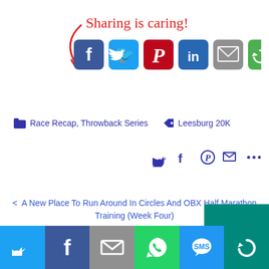[Figure (infographic): Sharing is caring! label with red arrow pointing to a row of social share buttons: Facebook (blue), Twitter (light blue), Pinterest (red), LinkedIn (dark blue), Email (grey), More (green)]
Race Recap, Throwback Series    Leesburg 20K
[Figure (infographic): Social share icons row: Twitter bird, Facebook f, Pinterest P, Email envelope, ellipsis (more)]
< A New Place To Run Around In Circles And OBX Half Marathon Training (Week Four)
Six Tips For Being A Good Steward Of Trail Porta Potties >
[Figure (infographic): Bottom share bar with Twitter, Facebook, Email, WhatsApp, SMS, More icons]